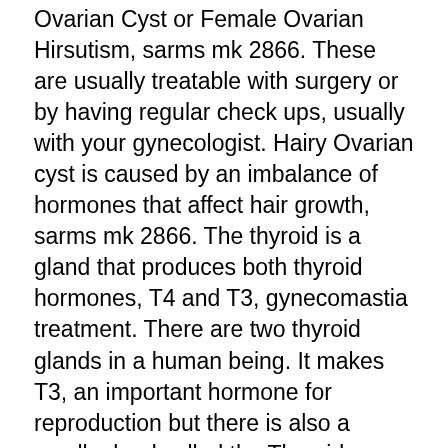Ovarian Cyst or Female Ovarian Hirsutism, sarms mk 2866. These are usually treatable with surgery or by having regular check ups, usually with your gynecologist. Hairy Ovarian cyst is caused by an imbalance of hormones that affect hair growth, sarms mk 2866. The thyroid is a gland that produces both thyroid hormones, T4 and T3, gynecomastia treatment. There are two thyroid glands in a human being. It makes T3, an important hormone for reproduction but there is also a small, gland called the Thyroid, which is not a part of the thyroid gland and is responsible for most of the other hormones. A person with a Hairy Ovarian cyst has a large amount of TSH but a small amount of T4, human growth hormone supplements vitamin shoppe. These two hormones are called hypothyroidism and hyperthyroidism.